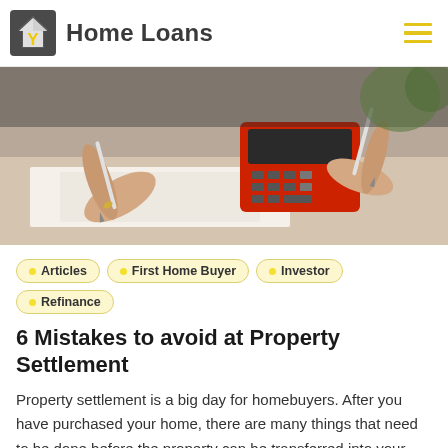Home Loans
[Figure (photo): Two people signing documents at a desk with a red calculator]
Articles
First Home Buyer
Investor
Refinance
6 Mistakes to avoid at Property Settlement
Property settlement is a big day for homebuyers. After you have purchased your home, there are many things that need to be done before the property can be transferred into your name. There are also many mistakes that can